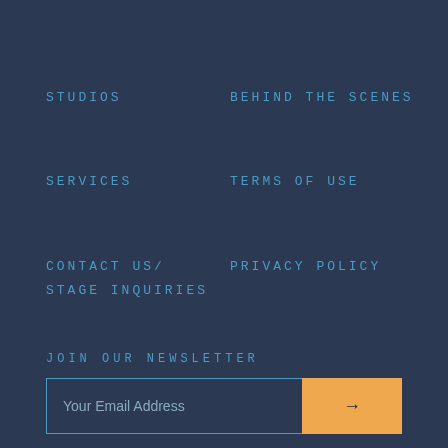STUDIOS
BEHIND THE SCENES
SERVICES
TERMS OF USE
CONTACT US/ STAGE INQUIRIES
PRIVACY POLICY
JOIN OUR NEWSLETTER
Your Email Address